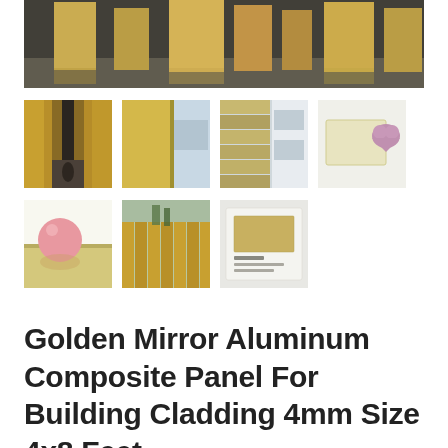[Figure (photo): Large main product image showing golden mirror aluminum composite panels used in an architectural interior setting with tall golden pillars]
[Figure (photo): Thumbnail 1: Interior hallway with golden reflective panels on walls]
[Figure (photo): Thumbnail 2: Close-up corner of golden mirror aluminum composite panel on a building exterior]
[Figure (photo): Thumbnail 3: Building exterior with golden horizontal panel cladding]
[Figure (photo): Thumbnail 4: Sample piece of light yellow/gold aluminum composite panel with a heart-shaped magnet]
[Figure (photo): Thumbnail 5: Golden mirror panel sample with a pink sphere/ball on top]
[Figure (photo): Thumbnail 6: Building exterior with golden vertical panel cladding]
[Figure (photo): Thumbnail 7: Color swatch card showing gold mirror finish with label text]
Golden Mirror Aluminum Composite Panel For Building Cladding 4mm Size 4x8 Feet